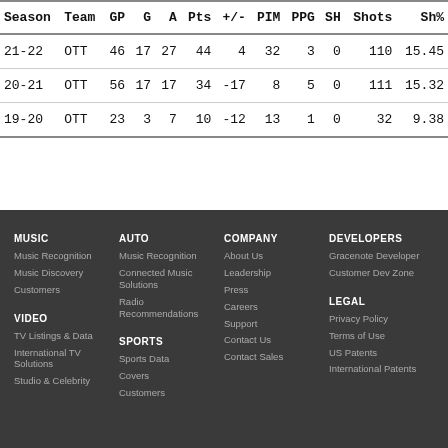| Season | Team | GP | G | A | Pts | +/- | PIM | PPG | SH | Shots | Sh% |
| --- | --- | --- | --- | --- | --- | --- | --- | --- | --- | --- | --- |
| 21-22 | OTT | 46 | 17 | 27 | 44 | 4 | 32 | 3 | 0 | 110 | 15.45 |
| 20-21 | OTT | 56 | 17 | 17 | 34 | -17 | 8 | 5 | 0 | 111 | 15.32 |
| 19-20 | OTT | 23 | 3 | 7 | 10 | -12 | 13 | 1 | 0 | 32 | 9.38 |
MUSIC: Music Recognition, Music Discovery, Customers
AUTO: Music Recognition, Connected Music Solutions, Radio Recommendations
COMPANY: About Us, Leadership, Press, Careers, Support, Contact Us, Contact Sales
DEVELOPERS: Gracenote Developer, Customer Dev Zone
VIDEO: TV Listings & Data, International TV Solutions, Studio & Celebrity
SPORTS: Sports Data, Covers, Customers
LEGAL: Privacy Policy, Terms of Use, US Patents, International Patents